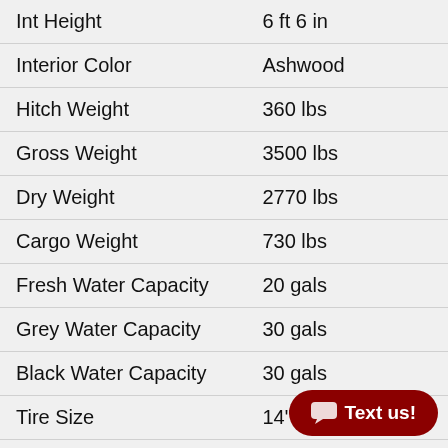| Spec | Value |
| --- | --- |
| Int Height | 6 ft 6 in |
| Interior Color | Ashwood |
| Hitch Weight | 360 lbs |
| Gross Weight | 3500 lbs |
| Dry Weight | 2770 lbs |
| Cargo Weight | 730 lbs |
| Fresh Water Capacity | 20 gals |
| Grey Water Capacity | 30 gals |
| Black Water Capacity | 30 gals |
| Tire Size | 14" |
| Furnace BTU | 20000 btu |
| Refrigerator Type | 12 Volt |
| Refrigerator Size | 8 c |
| Cooktop Burners | 2 |